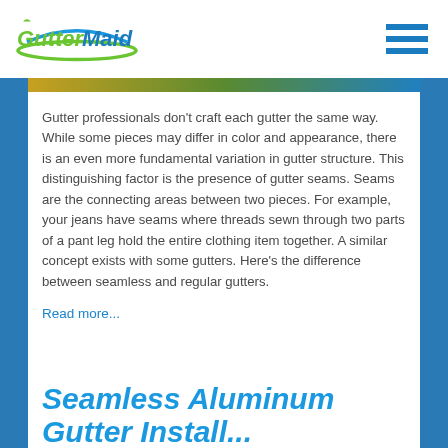GutterMaid
Gutter professionals don't craft each gutter the same way. While some pieces may differ in color and appearance, there is an even more fundamental variation in gutter structure. This distinguishing factor is the presence of gutter seams. Seams are the connecting areas between two pieces. For example, your jeans have seams where threads sewn through two parts of a pant leg hold the entire clothing item together. A similar concept exists with some gutters. Here's the difference between seamless and regular gutters.
Read more...
Seamless Aluminum Gutter Install...